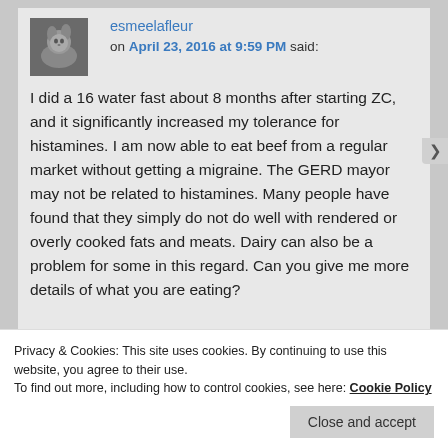esmeelafleur on April 23, 2016 at 9:59 PM said:
I did a 16 water fast about 8 months after starting ZC, and it significantly increased my tolerance for histamines. I am now able to eat beef from a regular market without getting a migraine. The GERD mayor may not be related to histamines. Many people have found that they simply do not do well with rendered or overly cooked fats and meats. Dairy can also be a problem for some in this regard. Can you give me more details of what you are eating?
Privacy & Cookies: This site uses cookies. By continuing to use this website, you agree to their use.
To find out more, including how to control cookies, see here: Cookie Policy